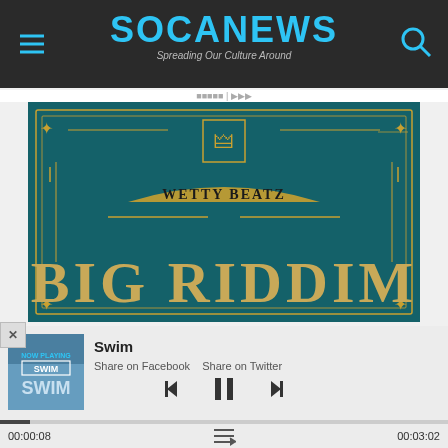SOCANEWS — Spreading Our Culture Around
[Figure (photo): Album art for Big Riddim release by Wetty Beatz — teal/dark green background with gold ornamental border, gold crown/bee logo in center top, 'WETTY BEATZ' in gold arched banner, large letters 'BIG RIDDIM' in gold/tan at bottom]
[Figure (screenshot): Music player widget showing track 'Swim' with thumbnail, share on Facebook and Twitter links, playback controls (previous, pause, next), progress bar at 00:00:08 of 00:03:02, and playlist icon]
Swim
Share on Facebook   Share on Twitter
00:00:08
00:03:02